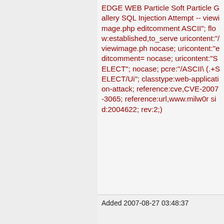EDGE WEB Particle Soft Particle Gallery SQL Injection Attempt -- viewimage.php editcomment ASCII"; flow:established,to_server; uricontent:"/viewimage.php"; nocase; uricontent:"editcomment="; nocase; uricontent:"SELECT"; nocase; pcre:"/ASCII\(.+SELECT/Ui"; classtype:web-application-attack; reference:cve,CVE-2007-3065; reference:url,www.milw0rm; sid:2004622; rev:2;)
Added 2007-08-27 03:48:37